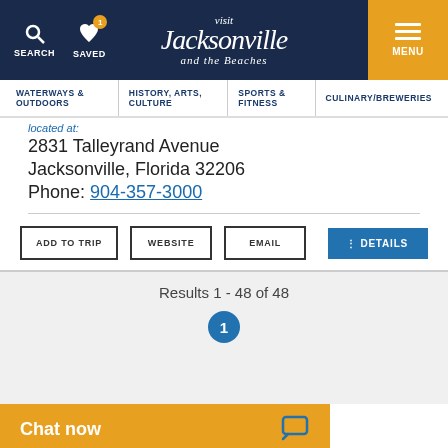Visit Jacksonville and the Beaches — SEARCH | SAVED | MENU
WATERWAYS & OUTDOORS | HISTORY, ARTS, CULTURE | SPORTS & FITNESS | CULINARY/BREWERIES
located at:
2831 Talleyrand Avenue
Jacksonville, Florida 32206
Phone: 904-357-3000
ADD TO TRIP   WEBSITE   EMAIL   DETAILS
Results 1 - 48 of 48
1
Chat now